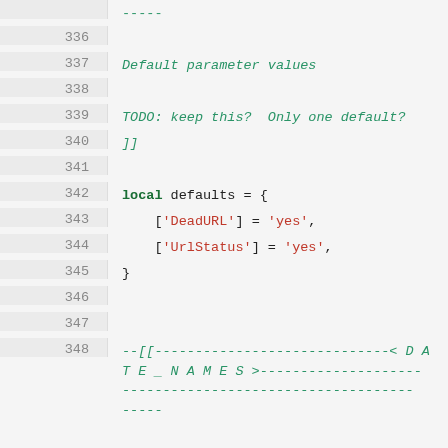-----
336
337   Default parameter values
338
339   TODO: keep this?  Only one default?
340   ]]
341
342   local defaults = {
343       ['DeadURL'] = 'yes',
344       ['UrlStatus'] = 'yes',
345   }
346
347
348   --[[------------------------------< D A T E _ N A M E S >---------------------.....-----